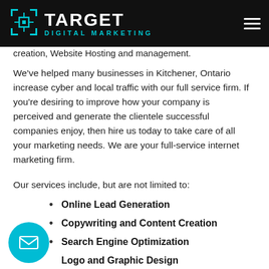TARGET DIGITAL MARKETING
creation, Website Hosting and management.
We've helped many businesses in Kitchener, Ontario increase cyber and local traffic with our full service firm. If you're desiring to improve how your company is perceived and generate the clientele successful companies enjoy, then hire us today to take care of all your marketing needs. We are your full-service internet marketing firm.
Our services include, but are not limited to:
Online Lead Generation
Copywriting and Content Creation
Search Engine Optimization
Logo and Graphic Design
Website Design and Hosting